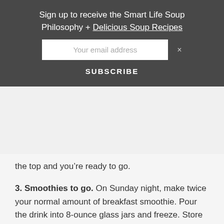Sign up to receive the Smart Life Soup Philosophy + Delicious Soup Recipes
Your email address
SUBSCRIBE
the top and you’re ready to go.
3. Smoothies to go. On Sunday night, make twice your normal amount of breakfast smoothie. Pour the drink into 8-ounce glass jars and freeze. Store them in the fridge at the office and by the time you’re ready to drink, it’s thawed.
4.  Seasoned kale chips. If you’re the domestic type, making these at home is a cinch, or if you haven’t used your oven in years, don’t worry, store-bought varieties can be just as healthy. To make, trim kale